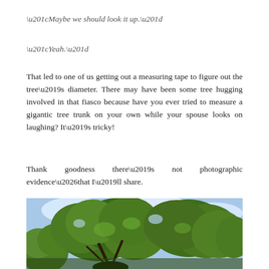“Maybe we should look it up.”
“Yeah.”
That led to one of us getting out a measuring tape to figure out the tree’s diameter. There may have been some tree hugging involved in that fiasco because have you ever tried to measure a gigantic tree trunk on your own while your spouse looks on laughing? It’s tricky!
Thank goodness there’s not photographic evidence…that I’ll share.
[Figure (photo): A large tree with dense green foliage photographed from below against a partly cloudy blue sky, showing the broad canopy and thick branches of a large deciduous tree.]